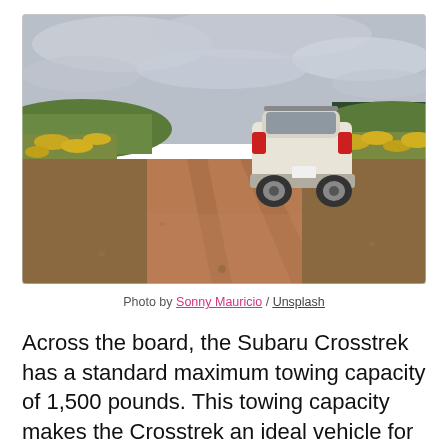[Figure (photo): A white Subaru Crosstrek SUV driving away on a red dirt road, flanked by wildflower fields and trees in the background under an overcast sky.]
Photo by Sonny Mauricio / Unsplash
Across the board, the Subaru Crosstrek has a standard maximum towing capacity of 1,500 pounds. This towing capacity makes the Crosstrek an ideal vehicle for pulling some of the smaller